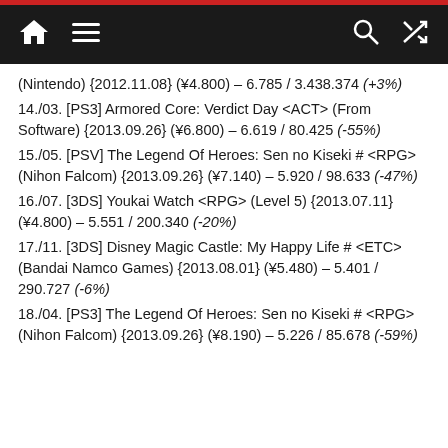Navigation bar with home, menu, search, and shuffle icons
(Nintendo) {2012.11.08} (¥4.800) – 6.785 / 3.438.374 (+3%)
14./03. [PS3] Armored Core: Verdict Day <ACT> (From Software) {2013.09.26} (¥6.800) – 6.619 / 80.425 (-55%)
15./05. [PSV] The Legend Of Heroes: Sen no Kiseki # <RPG> (Nihon Falcom) {2013.09.26} (¥7.140) – 5.920 / 98.633 (-47%)
16./07. [3DS] Youkai Watch <RPG> (Level 5) {2013.07.11} (¥4.800) – 5.551 / 200.340 (-20%)
17./11. [3DS] Disney Magic Castle: My Happy Life # <ETC> (Bandai Namco Games) {2013.08.01} (¥5.480) – 5.401 / 290.727 (-6%)
18./04. [PS3] The Legend Of Heroes: Sen no Kiseki # <RPG> (Nihon Falcom) {2013.09.26} (¥8.190) – 5.226 / 85.678 (-59%)